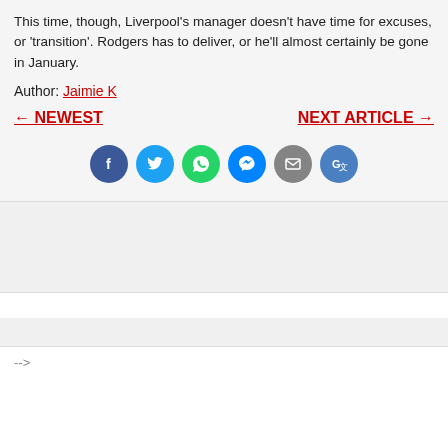This time, though, Liverpool's manager doesn't have time for excuses, or 'transition'. Rodgers has to deliver, or he'll almost certainly be gone in January.
Author: Jaimie K
← NEWEST   NEXT ARTICLE →
[Figure (infographic): Row of 6 social share icons: Facebook (dark blue), Twitter (light blue), WhatsApp (green), Messenger (blue), Email (grey), Google Translate (blue)]
-->